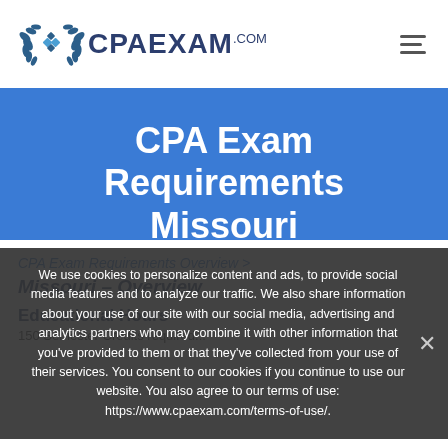CPAEXAM.com
CPA Exam Requirements Missouri
We use cookies to personalize content and ads, to provide social media features and to analyze our traffic. We also share information about your use of our site with our social media, advertising and analytics partners who may combine it with other information that you've provided to them or that they've collected from your use of their services. You consent to our cookies if you continue to use our website. You also agree to our terms of use: https://www.cpaexam.com/terms-of-use/.
CPA Exam Requirements Overview Missouri – Overview
Educational Hours